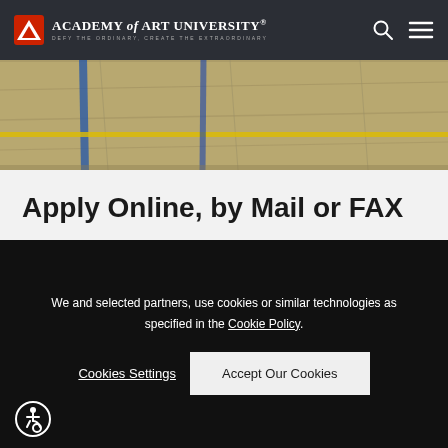ACADEMY of ART UNIVERSITY® — DEFY THE ORDINARY, CREATE THE EXTRAORDINARY
[Figure (photo): Aerial view of a concrete parking lot or runway surface with yellow and blue painted lines]
Apply Online, by Mail or FAX
Incoming international students can apply online or by
We and selected partners, use cookies or similar technologies as specified in the Cookie Policy.
Cookies Settings
Accept Our Cookies